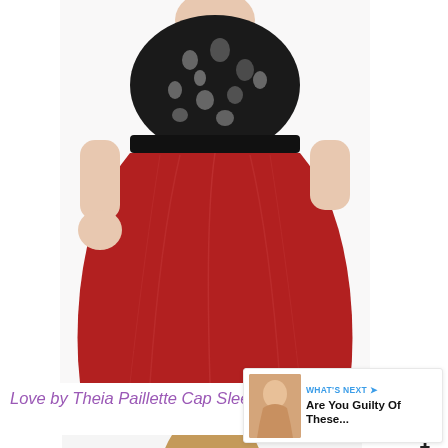[Figure (photo): A model wearing a black sequin/paillette cap sleeve top with a dark waistband and a full red satin midi skirt. The photo is cropped to show from neck to mid-calf.]
Love by Theia Paillette Cap Sleeve Top, $180
[Figure (photo): A model wearing a teal/mint sequin spaghetti strap tank top. The photo shows from shoulders to mid-torso.]